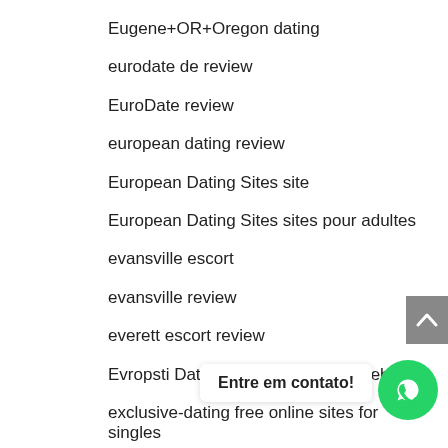Eugene+OR+Oregon dating
eurodate de review
EuroDate review
european dating review
European Dating Sites site
European Dating Sites sites pour adultes
evansville escort
evansville review
everett escort review
Evropsti Datovani Lokalit mobilni web
exclusive-dating free online sites for singles
express payda…
express payday loans
Entre em contato!